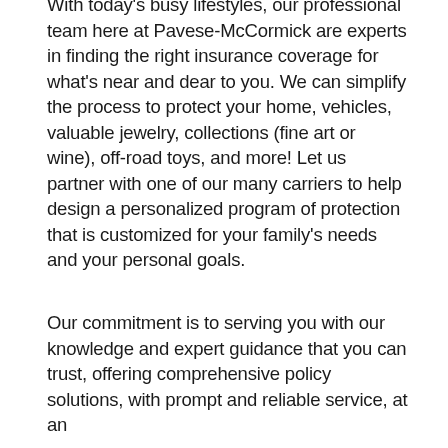With today's busy lifestyles, our professional team here at Pavese-McCormick are experts in finding the right insurance coverage for what's near and dear to you. We can simplify the process to protect your home, vehicles, valuable jewelry, collections (fine art or wine), off-road toys, and more! Let us partner with one of our many carriers to help design a personalized program of protection that is customized for your family's needs and your personal goals.
Our commitment is to serving you with our knowledge and expert guidance that you can trust, offering comprehensive policy solutions, with prompt and reliable service, at an